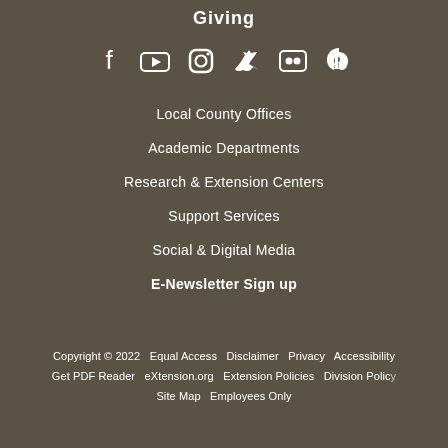Giving
[Figure (other): Social media icons: Facebook, YouTube, Instagram, Twitter, Flickr, Pinterest]
Local County Offices
Academic Departments
Research & Extension Centers
Support Services
Social & Digital Media
E-Newsletter Sign up
Copyright © 2022   Equal Access   Disclaimer   Privacy   Accessibility   Get PDF Reader   eXtension.org   Extension Policies   Division Policy   Site Map   Employees Only